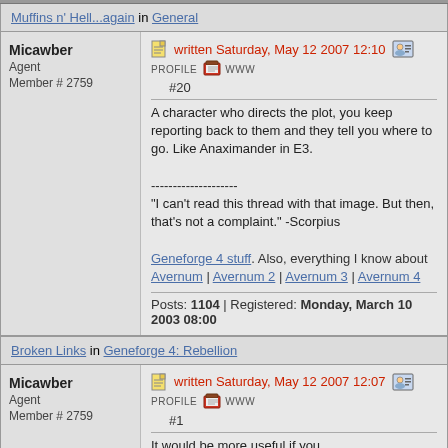Muffins n' Hell...again in General
Micawber
Agent
Member # 2759
written Saturday, May 12 2007 12:10  PROFILE  WWW
#20
A character who directs the plot, you keep reporting back to them and they tell you where to go. Like Anaximander in E3.

--------------------
"I can't read this thread with that image. But then, that's not a complaint." -Scorpius

Geneforge 4 stuff. Also, everything I know about Avernum | Avernum 2 | Avernum 3 | Avernum 4
Posts: 1104 | Registered: Monday, March 10 2003 08:00
Broken Links in Geneforge 4: Rebellion
Micawber
Agent
Member # 2759
written Saturday, May 12 2007 12:07  PROFILE  WWW
#1
It would be more useful if you